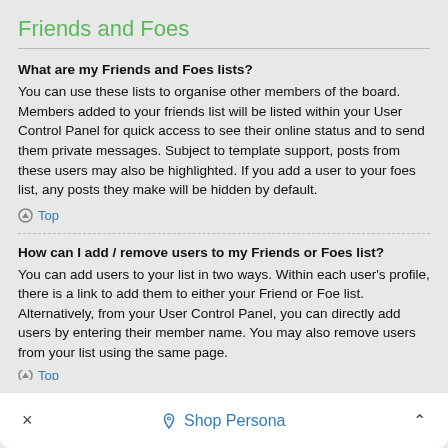Friends and Foes
What are my Friends and Foes lists?
You can use these lists to organise other members of the board. Members added to your friends list will be listed within your User Control Panel for quick access to see their online status and to send them private messages. Subject to template support, posts from these users may also be highlighted. If you add a user to your foes list, any posts they make will be hidden by default.
Top
How can I add / remove users to my Friends or Foes list?
You can add users to your list in two ways. Within each user's profile, there is a link to add them to either your Friend or Foe list. Alternatively, from your User Control Panel, you can directly add users by entering their member name. You may also remove users from your list using the same page.
× Shop Persona ^